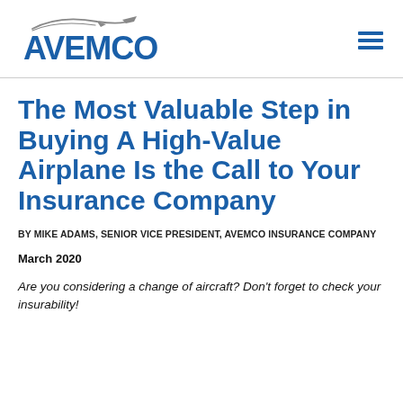[Figure (logo): AVEMCO aircraft insurance company logo with stylized airplane and blue lettering]
The Most Valuable Step in Buying A High-Value Airplane Is the Call to Your Insurance Company
BY MIKE ADAMS, SENIOR VICE PRESIDENT, AVEMCO INSURANCE COMPANY
March 2020
Are you considering a change of aircraft? Don't forget to check your insurability!